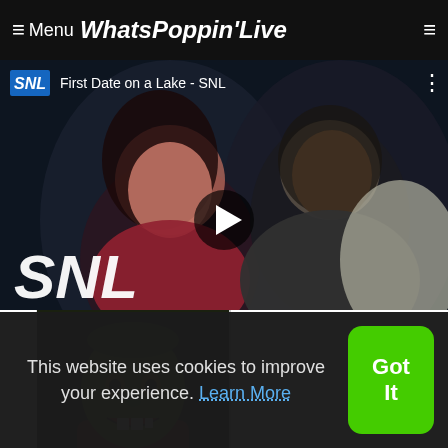≡ Menu WhatsPoppin'Live
[Figure (screenshot): YouTube embedded video thumbnail for 'First Date on a Lake - SNL' showing SNL logo badge, video title, play button, and SNL large italic text overlay over two people on a dark background]
[Figure (screenshot): Thumbnail image showing a person wearing a green mask/face paint (resembling Jim Carrey's The Mask character) with a menacing expression, wearing a red outfit]
This website uses cookies to improve your experience. Learn More
Got It